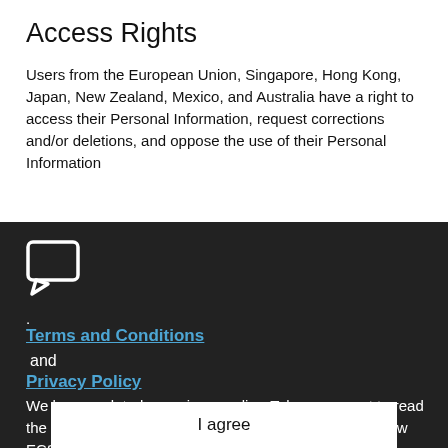Access Rights
Users from the European Union, Singapore, Hong Kong, Japan, New Zealand, Mexico, and Australia have a right to access their Personal Information, request corrections and/or deletions, and oppose the use of their Personal Information
[Figure (illustration): Chat/speech bubble icon in white outline on dark background]
.
Terms and Conditions
and
Privacy Policy
We have updated our privacy policy. Take a moment to read the changes. By clicking "I agree," you agree to the Arrow ECS Education
I agree